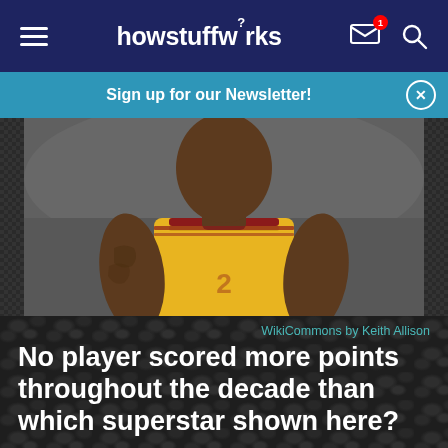howstuffworks
Sign up for our Newsletter!
[Figure (photo): Basketball player wearing a yellow Cavaliers jersey with tattoos visible on arm, cropped to show torso and neck area]
WikiCommons by Keith Allison
No player scored more points throughout the decade than which superstar shown here?
Kevin Durant